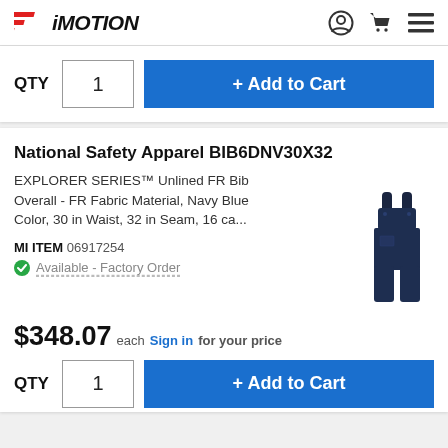iMOTION
QTY  1  + Add to Cart
National Safety Apparel BIB6DNV30X32
EXPLORER SERIES™ Unlined FR Bib Overall - FR Fabric Material, Navy Blue Color, 30 in Waist, 32 in Seam, 16 ca...
MI ITEM 06917254
Available - Factory Order
[Figure (photo): Navy blue bib overall / coverall product image]
$348.07 each Sign in for your price
QTY  1  + Add to Cart